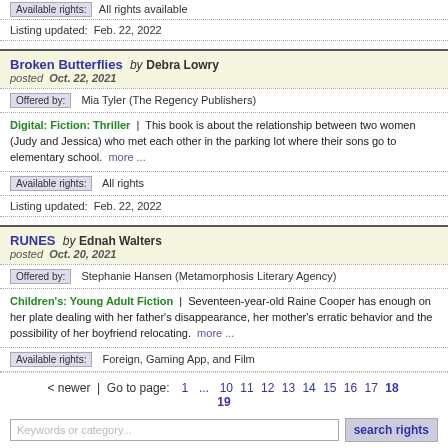Available rights:  All rights available
Listing updated:  Feb. 22, 2022
Broken Butterflies  by Debra Lowry
posted  Oct. 22, 2021
Offered by:  Mia Tyler (The Regency Publishers)
Digital: Fiction: Thriller  |  This book is about the relationship between two women (Judy and Jessica) who met each other in the parking lot where their sons go to elementary school.  more ...
Available rights:  All rights
Listing updated:  Feb. 22, 2022
RUNES  by Ednah Walters
posted  Oct. 20, 2021
Offered by:  Stephanie Hansen (Metamorphosis Literary Agency)
Children's: Young Adult Fiction  |  Seventeen-year-old Raine Cooper has enough on her plate dealing with her father's disappearance, her mother's erratic behavior and the possibility of her boyfriend relocating.  more ...
Available rights:  Foreign, Gaming App, and Film
< newer  |  Go to page:  1  ...  10  11  12  13  14  15  16  17  18  19
Keywords or category...   search rights